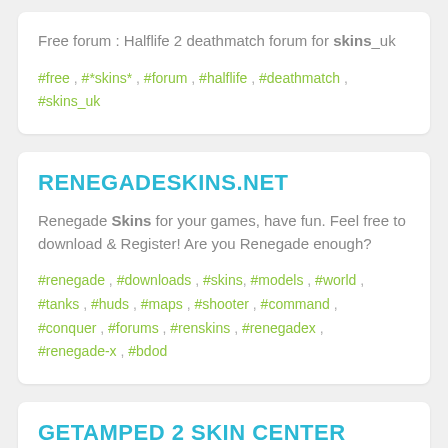Free forum : Halflife 2 deathmatch forum for skins_uk
#free , #*skins* , #forum , #halflife , #deathmatch , #skins_uk
RENEGADESKINS.NET
Renegade Skins for your games, have fun. Feel free to download & Register! Are you Renegade enough?
#renegade , #downloads , #skins, #models , #world , #tanks , #huds , #maps , #shooter , #command , #conquer , #forums , #renskins , #renegadex , #renegade-x , #bdod
GETAMPED 2 SKIN CENTER
A website designed for sharing/selling Getamped 2 skins...